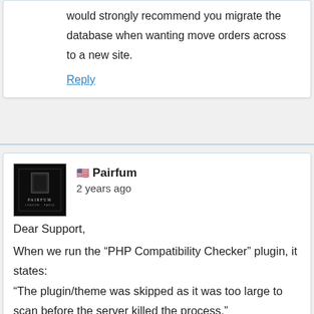would strongly recommend you migrate the database when wanting move orders across to a new site.
Reply
Pairfum
2 years ago
Dear Support,
When we run the “PHP Compatibility Checker” plugin, it states:
“The plugin/theme was skipped as it was too large to scan before the server killed the process.”
C... f... k th... d...